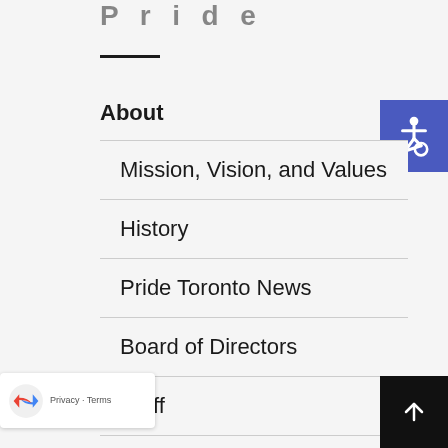Pride
About
Mission, Vision, and Values
History
Pride Toronto News
Board of Directors
Staff
Contact Us
[Figure (illustration): Accessibility icon (wheelchair symbol) on blue background, top-right corner]
[Figure (logo): Google reCAPTCHA badge with logo, Privacy and Terms links, bottom-left corner]
[Figure (illustration): Scroll-to-top arrow button on black background, bottom-right corner]